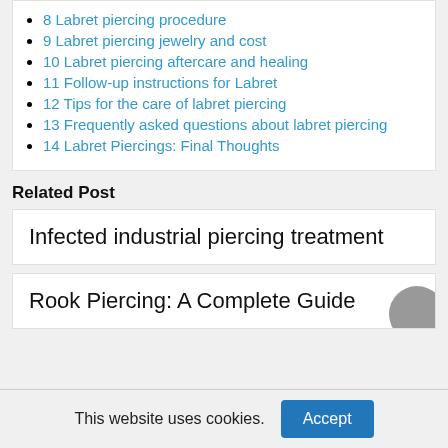8 Labret piercing procedure
9 Labret piercing jewelry and cost
10 Labret piercing aftercare and healing
11 Follow-up instructions for Labret
12 Tips for the care of labret piercing
13 Frequently asked questions about labret piercing
14 Labret Piercings: Final Thoughts
Related Post
Infected industrial piercing treatment
Rook Piercing: A Complete Guide
This website uses cookies.